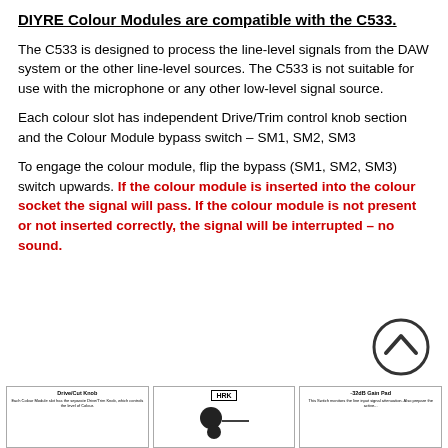DIYRE Colour Modules are compatible with the C533.
The C533 is designed to process the line-level signals from the DAW system or the other line-level sources. The C533 is not suitable for use with the microphone or any other low-level signal source.
Each colour slot has independent Drive/Trim control knob section and the Colour Module bypass switch – SM1, SM2, SM3
To engage the colour module, flip the bypass (SM1, SM2, SM3) switch upwards. If the colour module is inserted into the colour socket the signal will pass. If the colour module is not present or not inserted correctly, the signal will be interrupted – no sound.
[Figure (illustration): Drive/Cut Knob panel with small descriptive text about Each Colour Module slot having a separate Drive/Trim Knob which controls the level of Colour.]
[Figure (illustration): HRK knob panel showing a rotary knob with a line indicator and HRK label at top.]
[Figure (illustration): -32dB Gain Pad panel with small descriptive text about the switch monitoring the line input signal attenuation.]
[Figure (illustration): Circular chevron/up-arrow navigation button icon.]